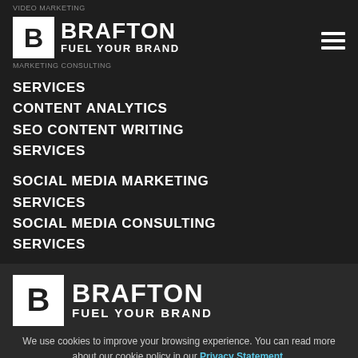VIDEO MARKETING
[Figure (logo): Brafton logo with B icon and text BRAFTON FUEL YOUR BRAND, white on dark background, with hamburger menu icon]
MARKETING CONSULTING
SERVICES
CONTENT ANALYTICS
SEO CONTENT WRITING SERVICES
SOCIAL MEDIA MARKETING SERVICES
SOCIAL MEDIA CONSULTING SERVICES
[Figure (logo): Brafton logo larger version with B icon and text BRAFTON FUEL YOUR BRAND, white on dark background]
We use cookies to improve your browsing experience. You can read more about our cookie policy in our Privacy Statement.
ACCEPT COOKIES